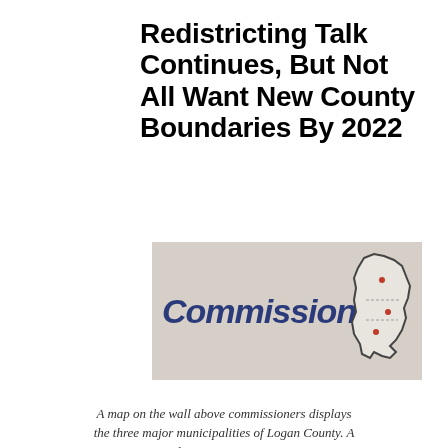Redistricting Talk Continues, But Not All Want New County Boundaries By 2022
[Figure (photo): A sign or banner reading 'Commission' in large bold italic blue text against a beige/tan background, with a small county map outline on the right side showing municipality dots.]
A map on the wall above commissioners displays the three major municipalities of Logan County. A movement to redistrict commission representation to